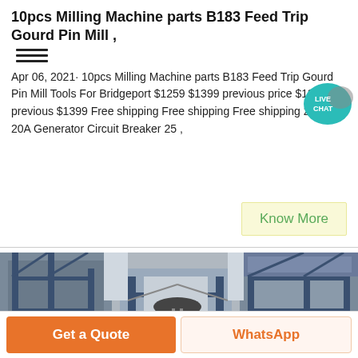10pcs Milling Machine parts B183 Feed Trip Gourd Pin Mill ,
Apr 06, 2021· 10pcs Milling Machine parts B183 Feed Trip Gourd Pin Mill Tools For Bridgeport $1259 $1399 previous price $1399 previous $1399 Free shipping Free shipping Free shipping 20 AMP 20A Generator Circuit Breaker 25 ,
[Figure (other): Live Chat badge with chat bubble icon in teal/green color]
Know More
[Figure (photo): Industrial milling machine or cement mill with blue steel framework and structures, photographed from below looking upward]
Get a Quote
WhatsApp